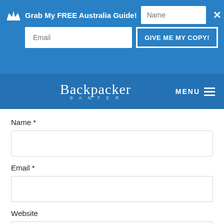[Figure (screenshot): Blue promotional banner with crown icon, text 'Grab My FREE Australia Guide!', a Name input field, close button (×), an Email input field, and a 'GIVE ME MY COPY!' button]
[Figure (logo): Backpacker Banter logo in cursive white script on blue navigation bar, with MENU hamburger icon on the right]
Name *
Email *
Website
POST COMMENT